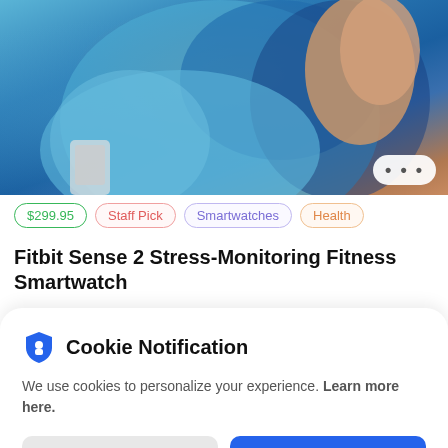[Figure (photo): Person in blue t-shirt with arm raised, holding a device, cropped view of torso]
$299.95  Staff Pick  Smartwatches  Health
Fitbit Sense 2 Stress-Monitoring Fitness Smartwatch
Cookie Notification
We use cookies to personalize your experience. Learn more here.
I Don't Accept  I Accept